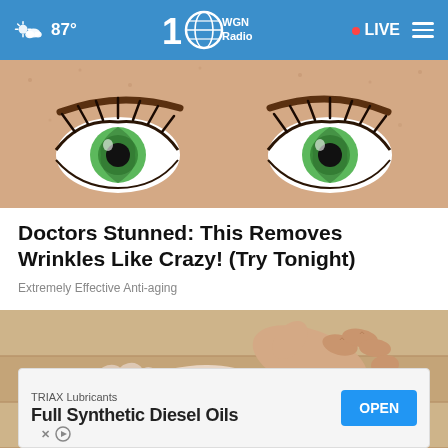87° WGN Radio · LIVE
[Figure (illustration): Illustrated cartoon-style close-up of two green eyes with long dark lashes on a skin-toned face with visible pores]
Doctors Stunned: This Removes Wrinkles Like Crazy! (Try Tonight)
Extremely Effective Anti-aging
[Figure (photo): Close-up photo of a person's foot being held or massaged by hands against a light wooden background]
TRIAX Lubricants Full Synthetic Diesel Oils OPEN